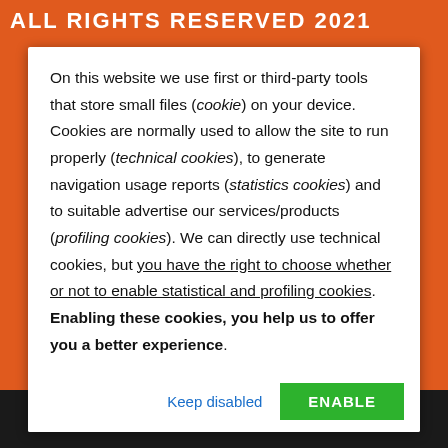ALL RIGHTS RESERVED 2021
On this website we use first or third-party tools that store small files (cookie) on your device. Cookies are normally used to allow the site to run properly (technical cookies), to generate navigation usage reports (statistics cookies) and to suitable advertise our services/products (profiling cookies). We can directly use technical cookies, but you have the right to choose whether or not to enable statistical and profiling cookies. Enabling these cookies, you help us to offer you a better experience.